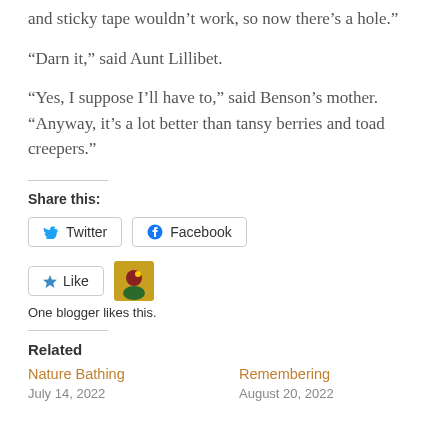and sticky tape wouldn’t work, so now there’s a hole.”
“Darn it,” said Aunt Lillibet.
“Yes, I suppose I’ll have to,” said Benson’s mother. “Anyway, it’s a lot better than tansy berries and toad creepers.”
Share this:
Twitter  Facebook
Like  [avatar]
One blogger likes this.
Related
Nature Bathing
July 14, 2022
Remembering
August 20, 2022